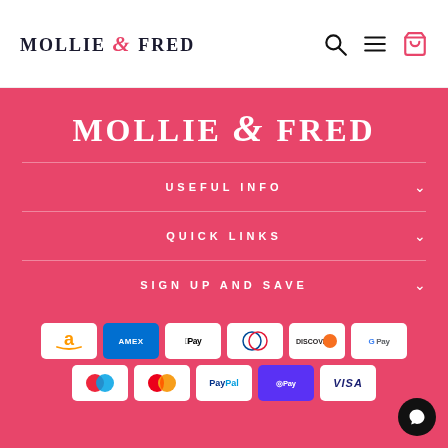MOLLIE & FRED
[Figure (logo): Mollie & Fred logo in large white serif text on pink background]
USEFUL INFO
QUICK LINKS
SIGN UP AND SAVE
[Figure (other): Payment method icons: Amazon, Amex, Apple Pay, Diners Club, Discover, Google Pay, Maestro, Mastercard, PayPal, Shop Pay, Visa]